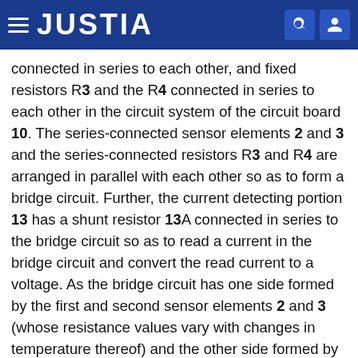JUSTIA
connected in series to each other, and fixed resistors R3 and the R4 connected in series to each other in the circuit system of the circuit board 10. The series-connected sensor elements 2 and 3 and the series-connected resistors R3 and R4 are arranged in parallel with each other so as to form a bridge circuit. Further, the current detecting portion 13 has a shunt resistor 13A connected in series to the bridge circuit so as to read a current in the bridge circuit and convert the read current to a voltage. As the bridge circuit has one side formed by the first and second sensor elements 2 and 3 (whose resistance values vary with changes in temperature thereof) and the other side formed by the fixed resistors R3 and R4 (whose resistance values are fixed) as mentioned above, the reading of current change in the bridge circuit corresponds to the reading of current change in the first and second sensor